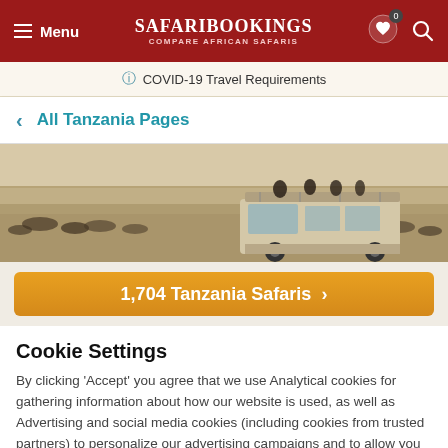SafariBookings — Compare African Safaris
COVID-19 Travel Requirements
< All Tanzania Pages
[Figure (photo): A safari vehicle with tourists on a game drive across a savanna landscape with wildebeest in the background.]
1,704 Tanzania Safaris >
Cookie Settings
By clicking 'Accept' you agree that we use Analytical cookies for gathering information about how our website is used, as well as Advertising and social media cookies (including cookies from trusted partners) to personalize our advertising campaigns and to allow you to share on social media. About our use of cookies